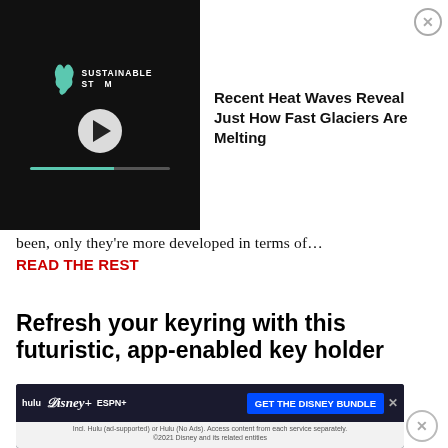[Figure (screenshot): Sustainable Storm video player thumbnail with play button and progress bar, dark background]
[Figure (screenshot): News article preview with headline: Recent Heat Waves Reveal Just How Fast Glaciers Are Melting, with close button]
been, only they're more developed in terms of…
READ THE REST
Refresh your keyring with this futuristic, app-enabled key holder
[Figure (photo): Product photo of a black app-enabled key holder in packaging]
[Figure (screenshot): Disney Bundle advertisement: hulu, Disney+, ESPN+, GET THE DISNEY BUNDLE. Incl. Hulu (ad-supported) or Hulu (No Ads). Access content from each service separately. ©2021 Disney and its related entities]